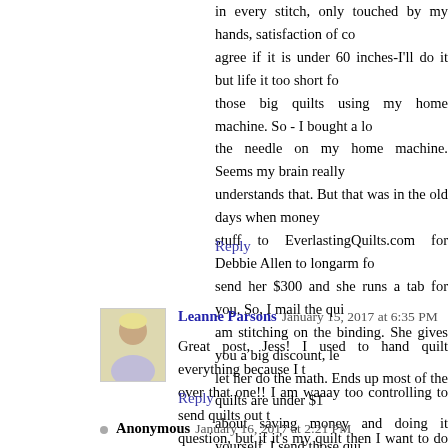in every stitch, only touched by my hands, satisfaction of co... agree if it is under 60 inches-I'll do it but life it too short fo... those big quilts using my home machine. So - I bought a lo... the needle on my home machine. Seems my brain really... understands that. But that was in the old days when money... stuff to EverlastingQuilts.com for Debbie Allen to longarm fo... send her $300 and she runs a tab for you. So, I mail the qui... am stitching on the binding. She gives you a big discount, le... let her do the math. Ends up most of the quilts are under $1... about saving money and doing it yourself. I send those qui... work. Just my thoughts.
Reply
Leanne Parsons  January 15, 2017 at 6:35 PM
Great post, Jess! I used to hand quilt everything because I t... over that one!! I am waaay too controlling to send quilts out t... question, but if it's my quilt then I want to do the whole t... something I can do myself. And quilting my quilts myself is se...
Reply
Anonymous  January 16, 2017 at 2:21 PM